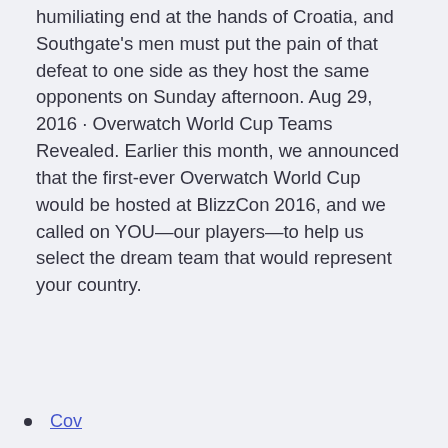humiliating end at the hands of Croatia, and Southgate's men must put the pain of that defeat to one side as they host the same opponents on Sunday afternoon. Aug 29, 2016 · Overwatch World Cup Teams Revealed. Earlier this month, we announced that the first-ever Overwatch World Cup would be hosted at BlizzCon 2016, and we called on YOU—our players—to help us select the dream team that would represent your country.
Cov